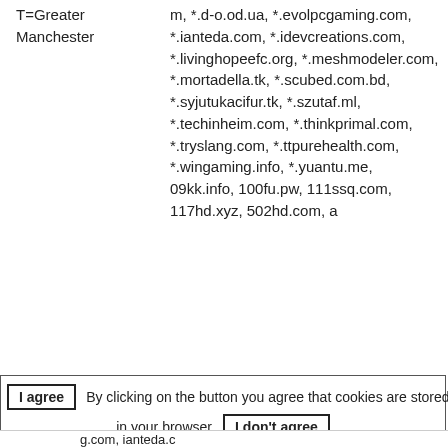| T=Greater Manchester | m, *.d-o.od.ua, *.evolpcgaming.com, *.ianteda.com, *.idevcreations.com, *.livinghopeefc.org, *.meshmodeler.com, *.mortadella.tk, *.scubed.com.bd, *.syjutukacifur.tk, *.szutaf.ml, *.techinheim.com, *.thinkprimal.com, *.tryslang.com, *.ttpurehealth.com, *.wingaming.info, *.yuantu.me, 09kk.info, 100fu.pw, 111ssq.com, 117hd.xyz, 502hd.com, a |
I agree  By clicking on the button you agree that cookies are stored in your browser.  I don't agree  Information on the stored cookies can be found at data protection#Cookies.
g.com, ianteda.c